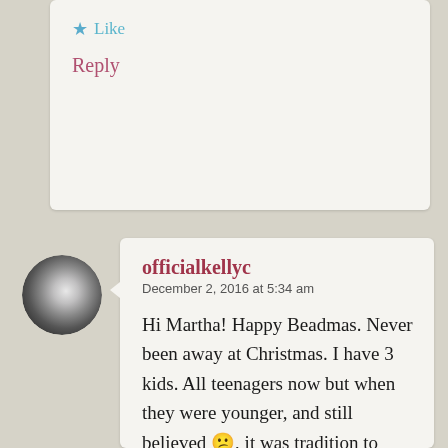Like
Reply
[Figure (illustration): Circular avatar photo showing a dark spherical object with a glowing center against a dark background]
officialkellyc
December 2, 2016 at 5:34 am
Hi Martha! Happy Beadmas. Never been away at Christmas. I have 3 kids. All teenagers now but when they were younger, and still believed 😕, it was tradition to open one gift on Christmas eve. I brought that tradition with me from my childhood. Always fun.
Love Kelly